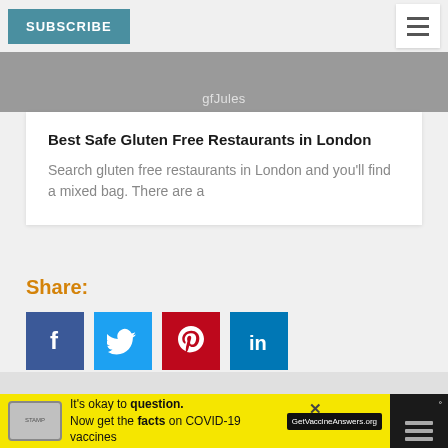SUBSCRIBE
[Figure (photo): Partial food image with watermark 'gfJules']
Best Safe Gluten Free Restaurants in London
Search gluten free restaurants in London and you'll find a mixed bag. There are a
Share:
[Figure (infographic): Social share buttons: Facebook, Twitter, Pinterest, LinkedIn]
(1 votes, average: 5.00 out of 5)
[Figure (infographic): Advertisement bar: It's okay to question. Now get the facts on COVID-19 vaccines. GetVaccineAnswers.org]